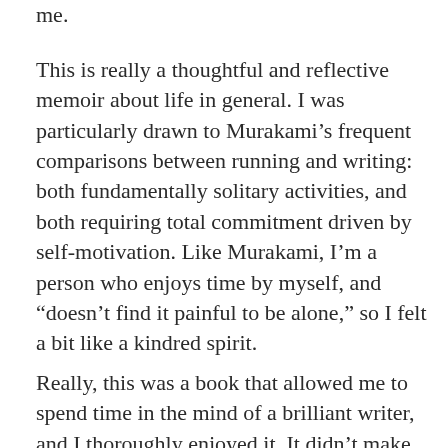me.
This is really a thoughtful and reflective memoir about life in general. I was particularly drawn to Murakami’s frequent comparisons between running and writing: both fundamentally solitary activities, and both requiring total commitment driven by self-motivation. Like Murakami, I’m a person who enjoys time by myself, and “doesn’t find it painful to be alone,” so I felt a bit like a kindred spirit.
Really, this was a book that allowed me to spend time in the mind of a brilliant writer, and I thoroughly enjoyed it. It didn’t make me want to start running—thank goodness,